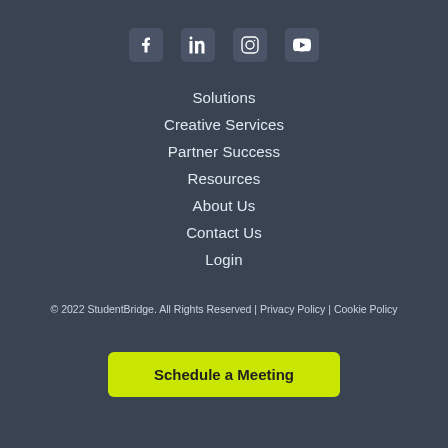[Figure (other): Social media icons row: Facebook, LinkedIn, Instagram, YouTube]
Solutions
Creative Services
Partner Success
Resources
About Us
Contact Us
Login
© 2022 StudentBridge. All Rights Reserved | Privacy Policy | Cookie Policy
Schedule a Meeting